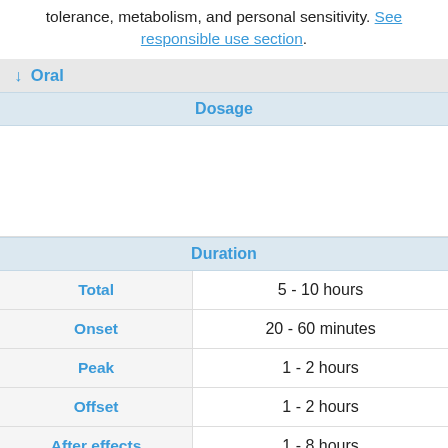tolerance, metabolism, and personal sensitivity. See responsible use section.
↓ Oral
| Dosage |
| --- |
| Duration |  |
| --- | --- |
| Total | 5 - 10 hours |
| Onset | 20 - 60 minutes |
| Peak | 1 - 2 hours |
| Offset | 1 - 2 hours |
| After effects | 1 - 8 hours |
DISCLAIMER: PW's dosage information is gathered from users and resources for educational purposes